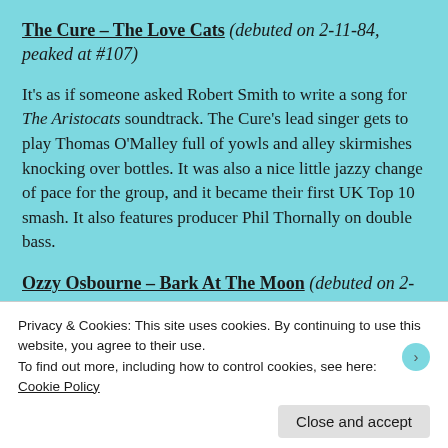The Cure – The Love Cats (debuted on 2-11-84, peaked at #107)
It's as if someone asked Robert Smith to write a song for The Aristocats soundtrack. The Cure's lead singer gets to play Thomas O'Malley full of yowls and alley skirmishes knocking over bottles. It was also a nice little jazzy change of pace for the group, and it became their first UK Top 10 smash. It also features producer Phil Thornally on double bass.
Ozzy Osbourne – Bark At The Moon (debuted on 2-
Privacy & Cookies: This site uses cookies. By continuing to use this website, you agree to their use.
To find out more, including how to control cookies, see here:
Cookie Policy
Close and accept